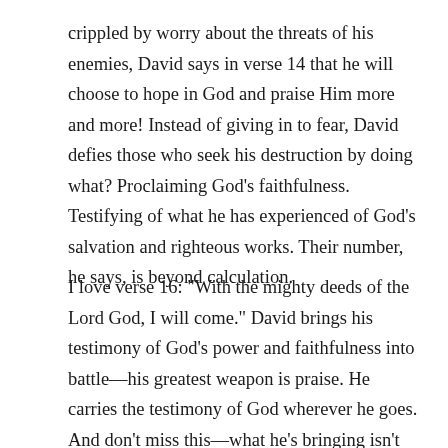crippled by worry about the threats of his enemies, David says in verse 14 that he will choose to hope in God and praise Him more and more! Instead of giving in to fear, David defies those who seek his destruction by doing what? Proclaiming God’s faithfulness. Testifying of what he has experienced of God’s salvation and righteous works. Their number, he says, is beyond calculation.
I love verse 16: “With the mighty deeds of the Lord God, I will come.” David brings his testimony of God’s power and faithfulness into battle—his greatest weapon is praise. He carries the testimony of God wherever he goes. And don’t miss this—what he’s bringing isn’t human wisdom or philosophy, but the pure testimony of